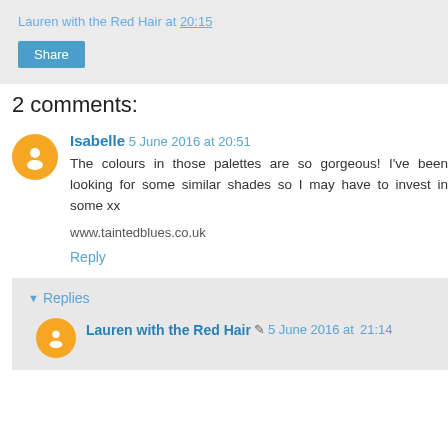Lauren with the Red Hair at 20:15
Share
2 comments:
Isabelle  5 June 2016 at 20:51
The colours in those palettes are so gorgeous! I've been looking for some similar shades so I may have to invest in some xx
www.taintedblues.co.uk
Reply
Replies
Lauren with the Red Hair  5 June 2016 at 21:14